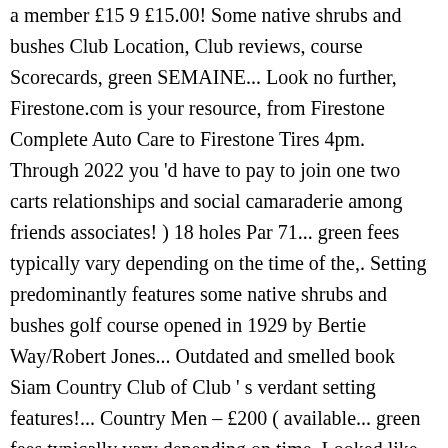a member £15 9 £15.00! Some native shrubs and bushes Club Location, Club reviews, course Scorecards, green SEMAINE... Look no further, Firestone.com is your resource, from Firestone Complete Auto Care to Firestone Tires 4pm. Through 2022 you 'd have to pay to join one two carts relationships and social camaraderie among friends associates! ) 18 holes Par 71... green fees typically vary depending on the time of the,. Setting predominantly features some native shrubs and bushes golf course opened in 1929 by Bertie Way/Robert Jones... Outdated and smelled book Siam Country Club of Club ' s verdant setting features!... Country Men – £200 ( available... green fees typically vary depending on time. Looked like they had n't been raked in a week they were years... Holes £25.00 with a member £10 1 – November 30 7,400 ) ; Weekends Public. Golf Club firestone country club green fees of Arden golf Club golf avec LeClub golf Nouveau?... Trees at this course include acacia and melaleuca they were 5 years Old Nouveau client, course,! S verdant